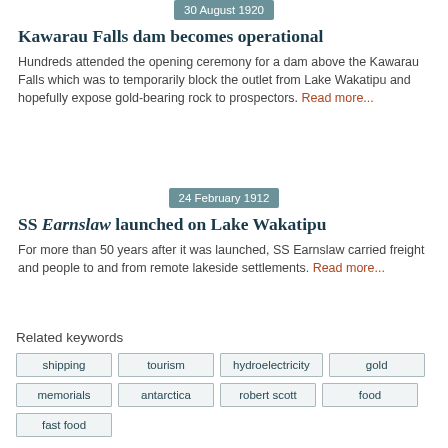30 August 1920
Kawarau Falls dam becomes operational
Hundreds attended the opening ceremony for a dam above the Kawarau Falls which was to temporarily block the outlet from Lake Wakatipu and hopefully expose gold-bearing rock to prospectors. Read more...
24 February 1912
SS Earnslaw launched on Lake Wakatipu
For more than 50 years after it was launched, SS Earnslaw carried freight and people to and from remote lakeside settlements. Read more...
Related keywords
shipping
tourism
hydroelectricity
gold
memorials
antarctica
robert scott
food
fast food